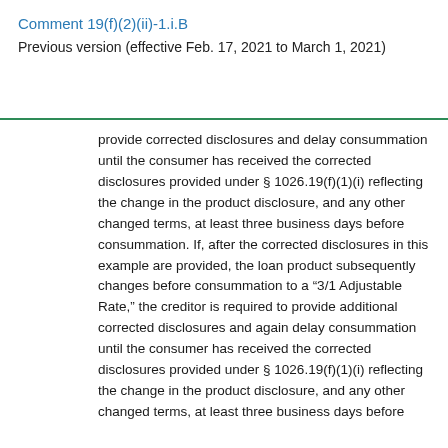Comment 19(f)(2)(ii)-1.i.B
Previous version (effective Feb. 17, 2021 to March 1, 2021)
provide corrected disclosures and delay consummation until the consumer has received the corrected disclosures provided under § 1026.19(f)(1)(i) reflecting the change in the product disclosure, and any other changed terms, at least three business days before consummation. If, after the corrected disclosures in this example are provided, the loan product subsequently changes before consummation to a “3/1 Adjustable Rate,” the creditor is required to provide additional corrected disclosures and again delay consummation until the consumer has received the corrected disclosures provided under § 1026.19(f)(1)(i) reflecting the change in the product disclosure, and any other changed terms, at least three business days before